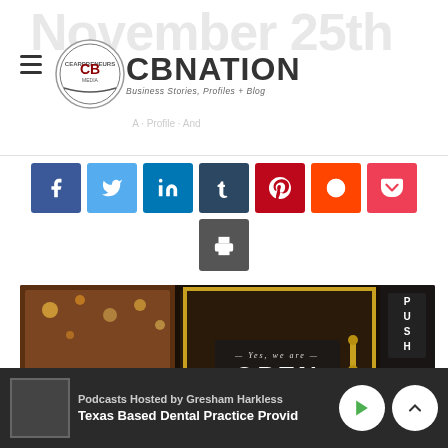November 25th
[Figure (logo): CBNation logo with circular badge and tagline Business Stories, Profiles + Blog]
[Figure (infographic): Social sharing icons row: Facebook, Twitter, LinkedIn, Tumblr, Pinterest, Reddit, Pocket, Email, Print]
[Figure (photo): Store front photo with Yes, we are OPEN sign on glass door, PUSH label on right side]
Podcasts Hosted by Gresham Harkless
Texas Based Dental Practice Provid